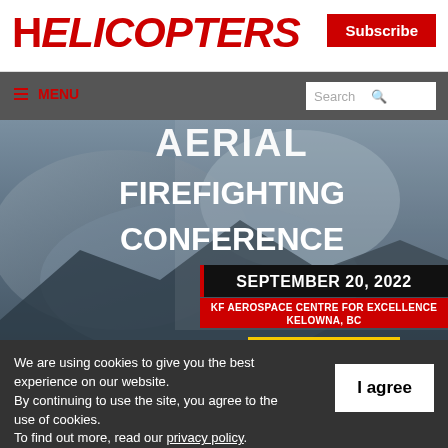HELICOPTERS
Subscribe
≡ MENU  Search
[Figure (infographic): Aerial Firefighting Conference banner. Text: AERIAL FIREFIGHTING CONFERENCE. SEPTEMBER 20, 2022. KF AEROSPACE CENTRE FOR EXCELLENCE KELOWNA, BC. REGISTER TODAY!]
We are using cookies to give you the best experience on our website.
By continuing to use the site, you agree to the use of cookies.
To find out more, read our privacy policy.
I agree